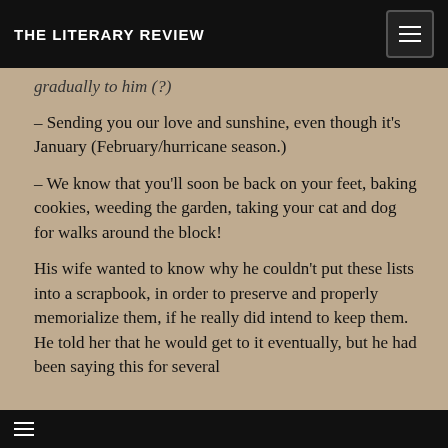THE LITERARY REVIEW
gradually to him (?)
– Sending you our love and sunshine, even though it's January (February/hurricane season.)
– We know that you'll soon be back on your feet, baking cookies, weeding the garden, taking your cat and dog for walks around the block!
His wife wanted to know why he couldn't put these lists into a scrapbook, in order to preserve and properly memorialize them, if he really did intend to keep them. He told her that he would get to it eventually, but he had been saying this for several